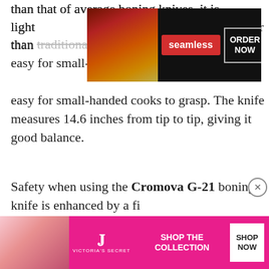than that of average boning knives, it is light... er than traditional boning knives in the market, is easy for small-handed cooks to grasp. The knife measures 14.6 inches from tip to tip, giving it good balance.
[Figure (screenshot): Seamless food delivery advertisement banner with pizza image, seamless logo in red pill, and ORDER NOW button]
Safety when using the Cromova G-21 boning knife is enhanced by a fi... present between the bla... which prevents accidenta...
[Figure (screenshot): Black video/media overlay covering part of the text]
The knife is flexible and strong yet lightweight, and it trims and cuts through any type of meat with precision. It easily glides throug... ons and ... s you
[Figure (screenshot): Victoria's Secret advertisement banner with model photo, VS logo, SHOP THE COLLECTION text and SHOP NOW button]